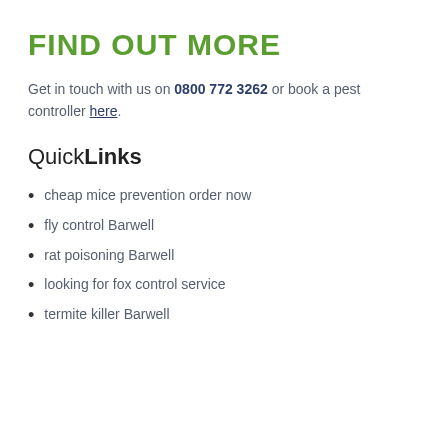FIND OUT MORE
Get in touch with us on 0800 772 3262 or book a pest controller here.
QuickLinks
cheap mice prevention order now
fly control Barwell
rat poisoning Barwell
looking for fox control service
termite killer Barwell